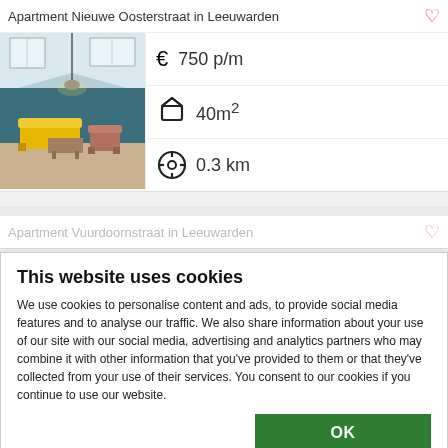Apartment Nieuwe Oosterstraat in Leeuwarden
€  750 p/m
40m²
0.3 km
[Figure (photo): Interior photo of a modern apartment living room with yellow sofa, wooden dining table, blue walls, and skylight windows]
Apartment Vuurdo ornstraat in Leeuwarden
This website uses cookies
We use cookies to personalise content and ads, to provide social media features and to analyse our traffic. We also share information about your use of our site with our social media, advertising and analytics partners who may combine it with other information that you've provided to them or that they've collected from your use of their services. You consent to our cookies if you continue to use our website.
OK
Necessary  Preferences  Statistics  Marketing  Show details